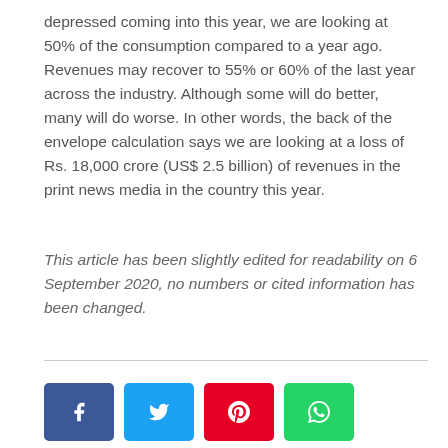depressed coming into this year, we are looking at 50% of the consumption compared to a year ago. Revenues may recover to 55% or 60% of the last year across the industry. Although some will do better, many will do worse. In other words, the back of the envelope calculation says we are looking at a loss of Rs. 18,000 crore (US$ 2.5 billion) of revenues in the print news media in the country this year.
This article has been slightly edited for readability on 6 September 2020, no numbers or cited information has been changed.
[Figure (other): Social sharing buttons: Facebook (blue), Twitter (light blue), Pinterest (red), WhatsApp (green)]